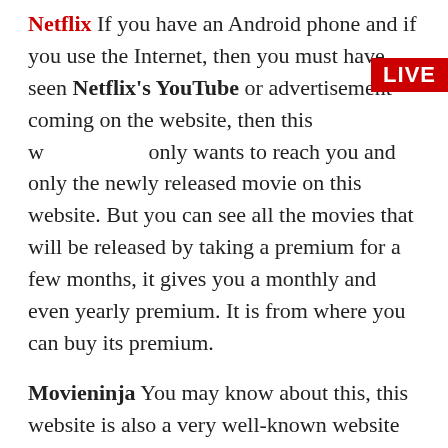Netflix If you have an Android phone and if you use the Internet, then you must have seen Netflix's YouTube or advertisement coming on the website, then this w only wants to reach you and only the newly released movie on this website. But you can see all the movies that will be released by taking a premium for a few months, it gives you a monthly and even yearly premium. It is from where you can buy its premium.
Movieninja You may know about this, this website is also a very well-known website where millions of people come to watch movies on this website every day, in fact, I have told you all the websites to watch movies. It is all run by a legal company, there is no risk of any kind here.
Tamil Movies Free Download webiste
Movieswap This website is one of the most downloaded